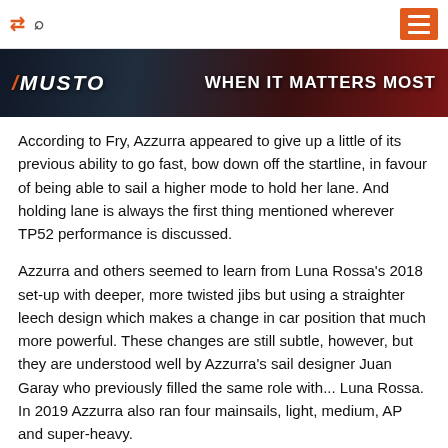shuffle search menu
[Figure (photo): Musto advertisement banner with sailing imagery. Text reads 'MUSTO' on the left and 'WHEN IT MATTERS MOST' on the right against a dark dramatic background.]
According to Fry, Azzurra appeared to give up a little of its previous ability to go fast, bow down off the startline, in favour of being able to sail a higher mode to hold her lane. And holding lane is always the first thing mentioned wherever TP52 performance is discussed.
Azzurra and others seemed to learn from Luna Rossa's 2018 set-up with deeper, more twisted jibs but using a straighter leech design which makes a change in car position that much more powerful. These changes are still subtle, however, but they are understood well by Azzurra's sail designer Juan Garay who previously filled the same role with... Luna Rossa. In 2019 Azzurra also ran four mainsails, light, medium, AP and super-heavy.
For certain this year the team also dealt with pressure better than in 2018. It would be true to say they worked tirelessly